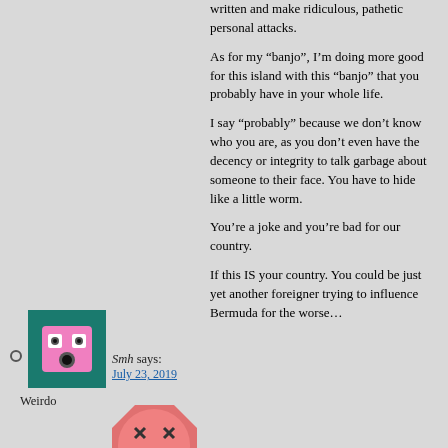written and make ridiculous, pathetic personal attacks.
As for my “banjo”, I’m doing more good for this island with this “banjo” that you probably have in your whole life.
I say “probably” because we don’t know who you are, as you don’t even have the decency or integrity to talk garbage about someone to their face. You have to hide like a little worm.
You’re a joke and you’re bad for our country.
If this IS your country. You could be just yet another foreigner trying to influence Bermuda for the worse…
[Figure (illustration): Avatar image: pink cartoon face on teal/green background square]
Smh says:
July 23, 2019
Weirdo
[Figure (illustration): Avatar image: pink cartoon face with X eyes on octagon]
bluenose says:
July 26, 2019